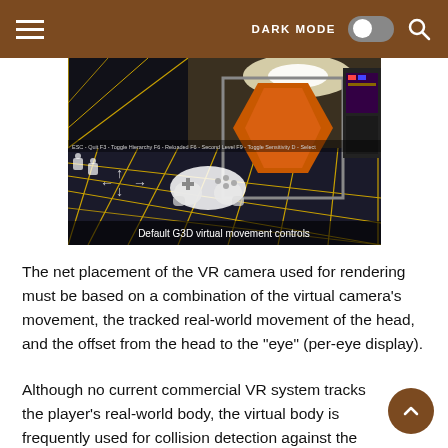DARK MODE
[Figure (screenshot): Screenshot of a 3D virtual environment game scene showing a sci-fi corridor with orange hexagonal door, grid floor with yellow lines, and game controller movement controls overlay. Caption reads: Default G3D virtual movement controls]
Default G3D virtual movement controls
The net placement of the VR camera used for rendering must be based on a combination of the virtual camera's movement, the tracked real-world movement of the head, and the offset from the head to the "eye" (per-eye display).
Although no current commercial VR system tracks the player's real-world body, the virtual body is frequently used for collision detection against the world to prevent